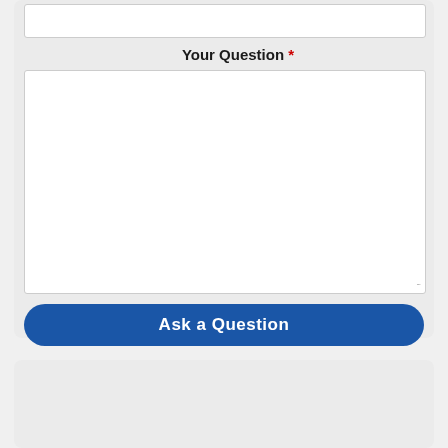Your Question *
[Figure (screenshot): A web form section with a 'Your Question *' label, a large text area input box, and a blue 'Ask a Question' rounded button below it. Below that is another grey card section.]